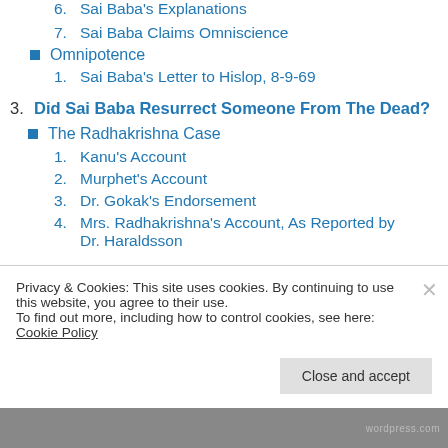6. Sai Baba's Explanations
7. Sai Baba Claims Omniscience
■ Omnipotence
1. Sai Baba's Letter to Hislop, 8-9-69
3. Did Sai Baba Resurrect Someone From The Dead?
■ The Radhakrishna Case
1. Kanu's Account
2. Murphet's Account
3. Dr. Gokak's Endorsement
4. Mrs. Radhakrishna's Account, As Reported by Dr. Haraldsson
Privacy & Cookies: This site uses cookies. By continuing to use this website, you agree to their use.
To find out more, including how to control cookies, see here: Cookie Policy
Close and accept